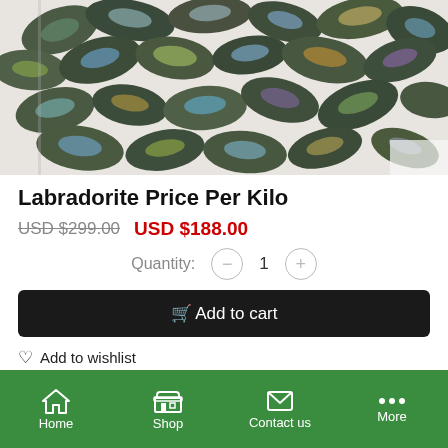[Figure (photo): Pile of labradorite cabochon stones showing iridescent blue, green, yellow and orange colors on a white background]
Labradorite Price Per Kilo
USD $299.00  USD $188.00
Quantity: 1
Add to cart
Add to wishlist
Categories:  Live, Live Stock, Cabochons, Cabochon,
Home  Shop  Contact us  More